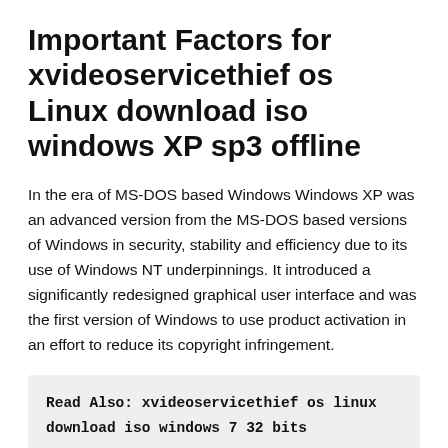Important Factors for xvideoservicethief os Linux download iso windows XP sp3 offline
In the era of MS-DOS based Windows Windows XP was an advanced version from the MS-DOS based versions of Windows in security, stability and efficiency due to its use of Windows NT underpinnings. It introduced a significantly redesigned graphical user interface and was the first version of Windows to use product activation in an effort to reduce its copyright infringement.
Read Also: xvideoservicethief os linux download iso windows 7 32 bits